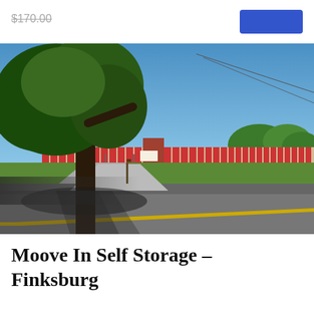$170.00
[Figure (photo): Exterior photo of Moove In Self Storage facility in Finksburg, Maryland. Shows a long row of red-doored storage units with beige/cream colored walls stretching into the distance. A large tree is in the foreground on the left. A road is visible in the foreground with yellow lane markings. Blue sky with utility lines visible.]
Moove In Self Storage – Finksburg